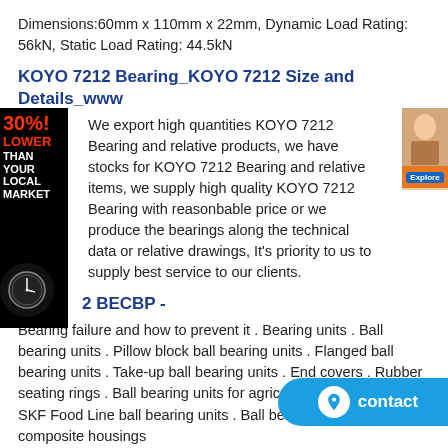Dimensions:60mm x 110mm x 22mm, Dynamic Load Rating: 56kN, Static Load Rating: 44.5kN
KOYO 7212 Bearing_KOYO 7212 Size and Details_www
We export high quantities KOYO 7212 Bearing and relative products, we have stocks for KOYO 7212 Bearing and relative items, we supply high quality KOYO 7212 Bearing with reasonbable price or we produce the bearings along the technical data or relative drawings, It's priority to us to supply best service to our clients.
2 BECBP -
Bearing failure and how to prevent it . Bearing units . Ball bearing units . Pillow block ball bearing units . Flanged ball bearing units . Take-up ball bearing units . End covers . Rubber seating rings . Ball bearing units for agriculture applications . SKF Food Line ball bearing units . Ball bearing units with composite housings
FAG 7212 C bearing fag Germany bearings
Meanwhile, 7212 C bearings have been applying to the auto accessories, precision machinery components relying on the advantage of precision manufacture technology, thus it gets consistent approval in every application field.WE also provides NSK FAG INA KOYO IK... PREVIOUS:7011 ACM OEM NEXT:LY-O027 OEM